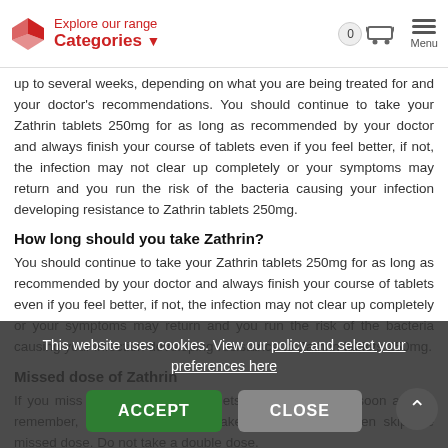Explore our range Categories
up to several weeks, depending on what you are being treated for and your doctor's recommendations. You should continue to take your Zathrin tablets 250mg for as long as recommended by your doctor and always finish your course of tablets even if you feel better, if not, the infection may not clear up completely or your symptoms may return and you run the risk of the bacteria causing your infection developing resistance to Zathrin tablets 250mg.
How long should you take Zathrin?
You should continue to take your Zathrin tablets 250mg for as long as recommended by your doctor and always finish your course of tablets even if you feel better, if not, the infection may not clear up completely or your symptoms may return and you run the risk of the bacteria causing your infection developing resistance to Zathrin tablets 250mg.
Missed dose of Zathrin
If you miss a dose of Zathrin tablets 250mg take it as soon as you remember, unless it is time to take the next dose, then skip the missed dose. Do not take a double dose.
How should Zathrin be stored?
You should store your Zathrin tablets below 25 C in a cool dry place.
This website uses cookies. View our policy and select your preferences here